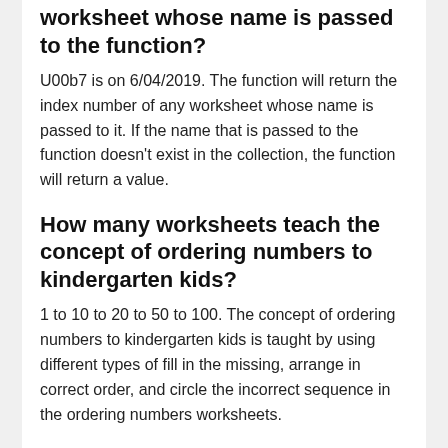worksheet whose name is passed to the function?
U00b7 is on 6/04/2019. The function will return the index number of any worksheet whose name is passed to it. If the name that is passed to the function doesn't exist in the collection, the function will return a value.
How many worksheets teach the concept of ordering numbers to kindergarten kids?
1 to 10 to 20 to 50 to 100. The concept of ordering numbers to kindergarten kids is taught by using different types of fill in the missing, arrange in correct order, and circle the incorrect sequence in the ordering numbers worksheets.
What is a crossword that includes numbers 1-10?
Two easy exercises are available for young learners: 1) ...